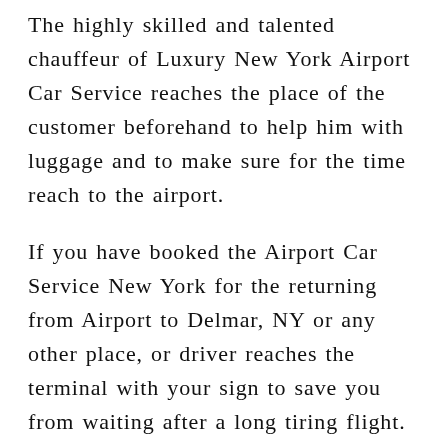The highly skilled and talented chauffeur of Luxury New York Airport Car Service reaches the place of the customer beforehand to help him with luggage and to make sure for the time reach to the airport.
If you have booked the Airport Car Service New York for the returning from Airport to Delmar, NY or any other place, or driver reaches the terminal with your sign to save you from waiting after a long tiring flight. You can relax your senses and recline within our Limousine Service exquisite and alluring ambience of the car after the day-long tedious trip.
If you are coming to Delmar, NY to attend the corporate meetings or business transactions, we at New York Airport Limo Service yield you the most